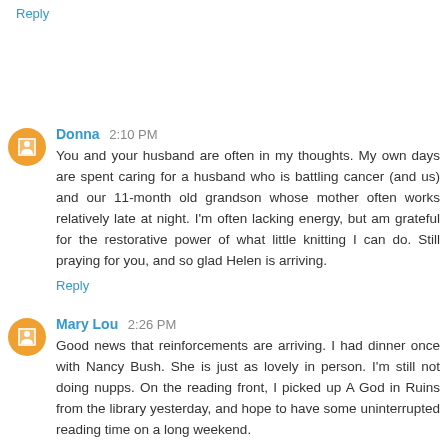Reply
Donna 2:10 PM
You and your husband are often in my thoughts. My own days are spent caring for a husband who is battling cancer (and us) and our 11-month old grandson whose mother often works relatively late at night. I'm often lacking energy, but am grateful for the restorative power of what little knitting I can do. Still praying for you, and so glad Helen is arriving.
Reply
Mary Lou 2:26 PM
Good news that reinforcements are arriving. I had dinner once with Nancy Bush. She is just as lovely in person. I'm still not doing nupps. On the reading front, I picked up A God in Ruins from the library yesterday, and hope to have some uninterrupted reading time on a long weekend.
Reply